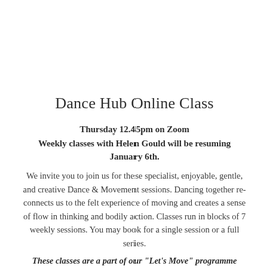Dance Hub Online Class
Thursday 12.45pm on Zoom
Weekly classes with Helen Gould will be resuming January 6th.
We invite you to join us for these specialist, enjoyable, gentle, and creative Dance & Movement sessions. Dancing together re-connects us to the felt experience of moving and creates a sense of flow in thinking and bodily action. Classes run in blocks of 7 weekly sessions. You may book for a single session or a full series.
These classes are a part of our "Let's Move" programme